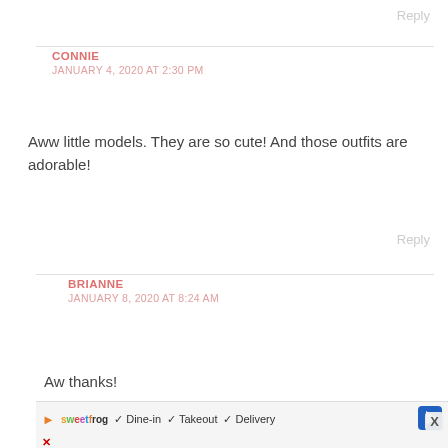Reply
CONNIE
JANUARY 4, 2020 AT 2:30 PM
Aww little models. They are so cute! And those outfits are adorable!
Reply
BRIANNE
JANUARY 8, 2020 AT 8:24 AM
Aw thanks!
Reply